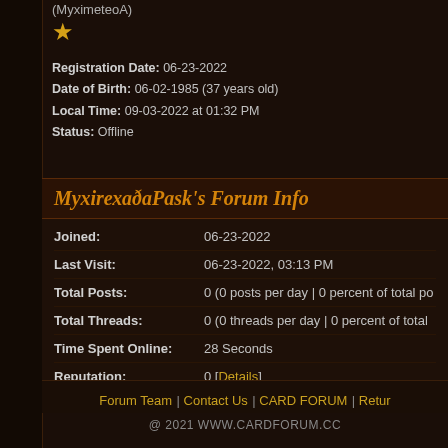(MyximeteoA)
★
Registration Date: 06-23-2022
Date of Birth: 06-02-1985 (37 years old)
Local Time: 09-03-2022 at 01:32 PM
Status: Offline
МухіrехаðаРask's Forum Info
| Field | Value |
| --- | --- |
| Joined: | 06-23-2022 |
| Last Visit: | 06-23-2022, 03:13 PM |
| Total Posts: | 0 (0 posts per day | 0 percent of total po |
| Total Threads: | 0 (0 threads per day | 0 percent of total |
| Time Spent Online: | 28 Seconds |
| Reputation: | 0 [Details] |
Forum Team | Contact Us | CARD FORUM | Retur
@ 2021 WWW.CARDFORUM.CC